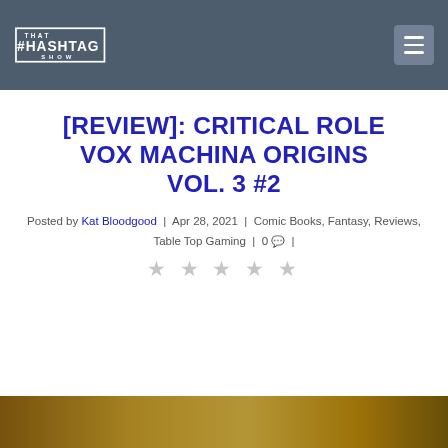That Hashtag Show
[REVIEW]: CRITICAL ROLE VOX MACHINA ORIGINS VOL. 3 #2
Posted by Kat Bloodgood | Apr 28, 2021 | Comic Books, Fantasy, Reviews, Table Top Gaming | 0 |
[Figure (other): Five star rating icons (empty/outline stars)]
[Figure (photo): Bottom portion of Critical Role Vox Machina comic book cover art showing golden/brown tones]